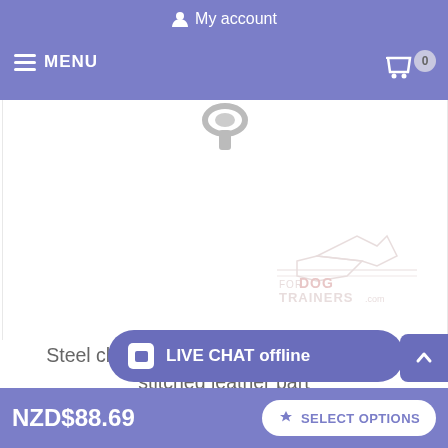My account | MENU | 0
[Figure (photo): Steel chrome plated dog pinch collar with stitched leather part, product photo on white background with fordogtrainers.com watermark]
Steel chrome plated dog pinch collar with stitched leather part
If you are looking for a top notch and practicable dog pinch collar, you'd better get this one! Price is well-grounded for a top-quality accessory. Buy quality things and save money! The quality of this pinch collar is achieved by strong materials and hard work of
NZD$88.69 | SELECT OPTIONS